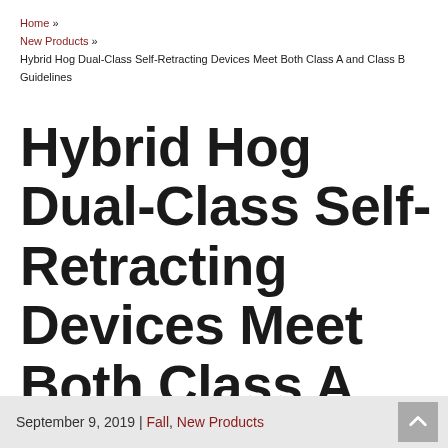Home » New Products » Hybrid Hog Dual-Class Self-Retracting Devices Meet Both Class A and Class B Guidelines
Hybrid Hog Dual-Class Self-Retracting Devices Meet Both Class A and Class B Guidelines
September 9, 2019 | Fall, New Products